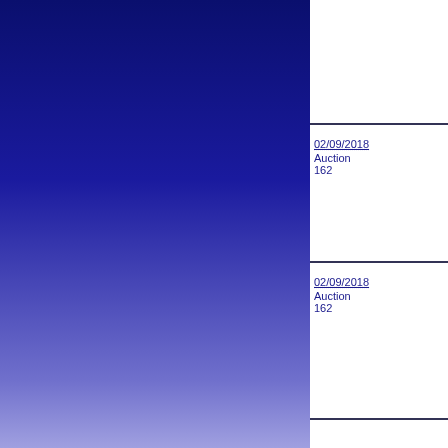[Figure (illustration): Blue gradient background panel on the left side, transitioning from dark navy blue at the top to light periwinkle/lavender at the bottom.]
02/09/2018
Auction
162
World
Bulk Lots
02/09/2018
Auction
162
World
Bulk Lots